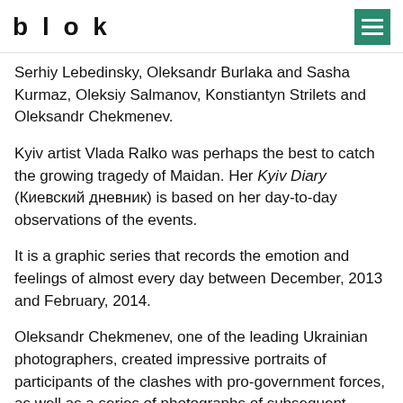blok
Serhiy Lebedinsky, Oleksandr Burlaka and Sasha Kurmaz, Oleksiy Salmanov, Konstiantyn Strilets and Oleksandr Chekmenev.
Kyiv artist Vlada Ralko was perhaps the best to catch the growing tragedy of Maidan. Her Kyiv Diary (Киевский дневник) is based on her day-to-day observations of the events.
It is a graphic series that records the emotion and feelings of almost every day between December, 2013 and February, 2014.
Oleksandr Chekmenev, one of the leading Ukrainian photographers, created impressive portraits of participants of the clashes with pro-government forces, as well as a series of photographs of subsequent events in eastern Ukraine – portraits of